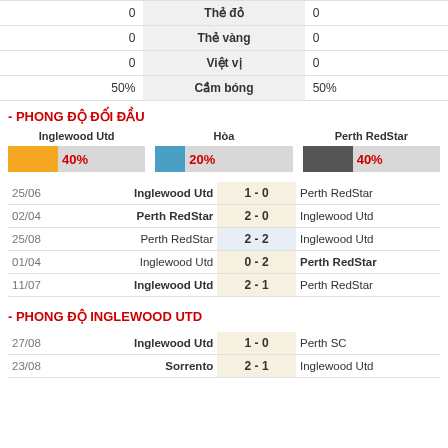| Left | Stat | Right |
| --- | --- | --- |
| 0 | Thẻ đỏ | 0 |
| 0 | Thẻ vàng | 0 |
| 0 | Việt vị | 0 |
| 50% | Cầm bóng | 50% |
- PHONG ĐỘ ĐỐI ĐẦU
[Figure (infographic): H2H win percentage bars: Inglewood Utd 40% (orange), Hòa 20% (blue), Perth RedStar 40% (dark gray)]
| Date | Home | Score | Away |
| --- | --- | --- | --- |
| 25/06 | Inglewood Utd | 1 - 0 | Perth RedStar |
| 02/04 | Perth RedStar | 2 - 0 | Inglewood Utd |
| 25/08 | Perth RedStar | 2 - 2 | Inglewood Utd |
| 01/04 | Inglewood Utd | 0 - 2 | Perth RedStar |
| 11/07 | Inglewood Utd | 2 - 1 | Perth RedStar |
- PHONG ĐỘ INGLEWOOD UTD
| Date | Home | Score | Away |
| --- | --- | --- | --- |
| 27/08 | Inglewood Utd | 1 - 0 | Perth SC |
| 23/08 | Sorrento | 2 - 1 | Inglewood Utd |